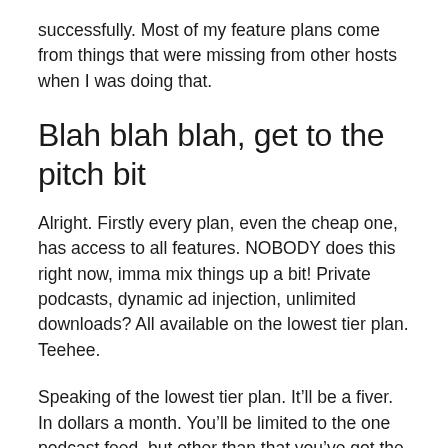successfully. Most of my feature plans come from things that were missing from other hosts when I was doing that.
Blah blah blah, get to the pitch bit
Alright. Firstly every plan, even the cheap one, has access to all features. NOBODY does this right now, imma mix things up a bit! Private podcasts, dynamic ad injection, unlimited downloads? All available on the lowest tier plan. Teehee.
Speaking of the lowest tier plan. It’ll be a fiver. In dollars a month. You’ll be limited to the one podcast feed, but other than that you’ve got the same features as an enterprise user.